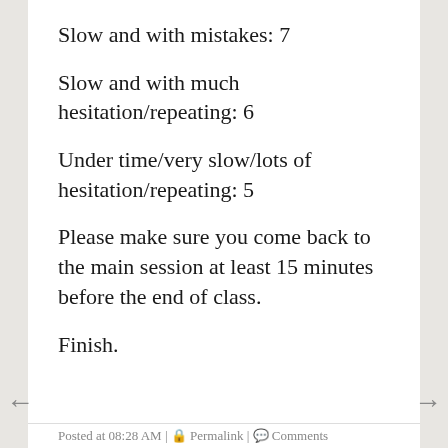Slow and with mistakes: 7
Slow and with much hesitation/repeating: 6
Under time/very slow/lots of hesitation/repeating: 5
Please make sure you come back to the main session at least 15 minutes before the end of class.
Finish.
Posted at 08:28 AM | Permalink | Comments